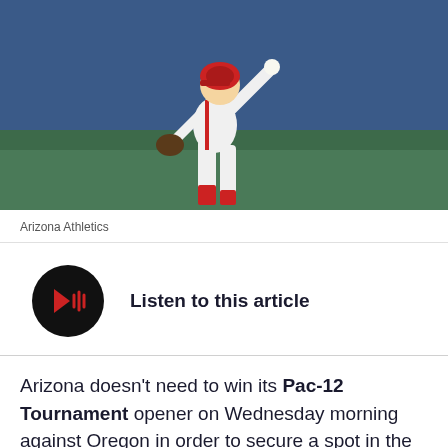[Figure (photo): Baseball pitcher in white and red uniform mid-wind-up against a blue and green background]
Arizona Athletics
[Figure (other): Audio player button - black circular button with red play/audio icon and text 'Listen to this article']
Arizona doesn't need to win its Pac-12 Tournament opener on Wednesday morning against Oregon in order to secure a spot in the NCAA tourney, but it wouldn't hurt.